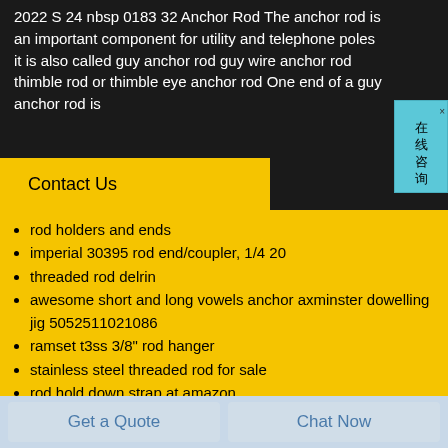2022 S 24 nbsp 0183 32 Anchor Rod The anchor rod is an important component for utility and telephone poles it is also called guy anchor rod guy wire anchor rod thimble rod or thimble eye anchor rod One end of a guy anchor rod is
Contact Us
rod holders and ends
imperial 30395 rod end/coupler, 1/4 20
threaded rod delrin
awesome short and long vowels anchor axminster dowelling jig 5052511021086
ramset t3ss 3/8" rod hanger
stainless steel threaded rod for sale
rod hold down strap at amazon
weight set bar
piston & rod orientation
Get a Quote
Chat Now